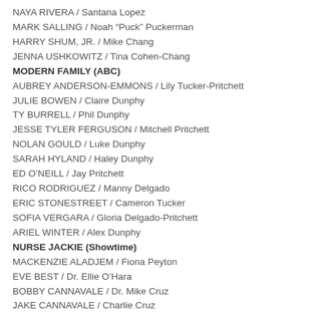NAYA RIVERA / Santana Lopez
MARK SALLING / Noah “Puck” Puckerman
HARRY SHUM, JR. / Mike Chang
JENNA USHKOWITZ / Tina Cohen-Chang
MODERN FAMILY (ABC)
AUBREY ANDERSON-EMMONS / Lily Tucker-Pritchett
JULIE BOWEN / Claire Dunphy
TY BURRELL / Phil Dunphy
JESSE TYLER FERGUSON / Mitchell Pritchett
NOLAN GOULD / Luke Dunphy
SARAH HYLAND / Haley Dunphy
ED O’NEILL / Jay Pritchett
RICO RODRIGUEZ / Manny Delgado
ERIC STONESTREET / Cameron Tucker
SOFIA VERGARA / Gloria Delgado-Pritchett
ARIEL WINTER / Alex Dunphy
NURSE JACKIE (Showtime)
MACKENZIE ALADJEM / Fiona Peyton
EVE BEST / Dr. Ellie O’Hara
BOBBY CANNAVALE / Dr. Mike Cruz
JAKE CANNAVALE / Charlie Cruz
PETER FACINELLI / Dr. Fitch Cooper